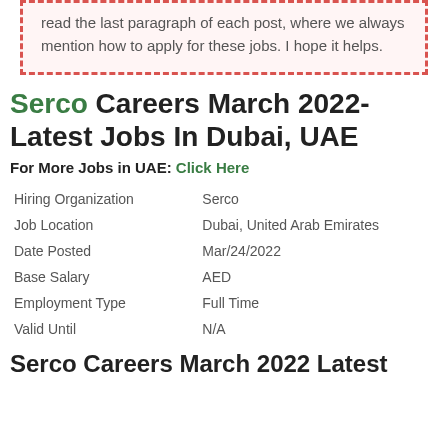read the last paragraph of each post, where we always mention how to apply for these jobs. I hope it helps.
Serco Careers March 2022-Latest Jobs In Dubai, UAE
For More Jobs in UAE: Click Here
| Hiring Organization | Serco |
| Job Location | Dubai, United Arab Emirates |
| Date Posted | Mar/24/2022 |
| Base Salary | AED |
| Employment Type | Full Time |
| Valid Until | N/A |
Serco Careers March 2022 Latest